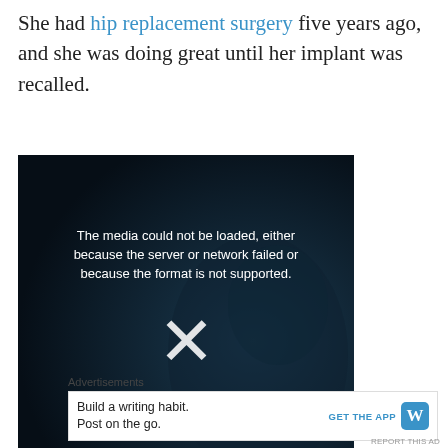She had hip replacement surgery five years ago, and she was doing great until her implant was recalled.
[Figure (screenshot): Video player showing error message: The media could not be loaded, either because the server or network failed or because the format is not supported. A large X symbol is shown in the center of the dark video frame.]
Advertisements
[Figure (screenshot): Advertisement bar: Build a writing habit. Post on the go. GET THE APP with WordPress logo icon.]